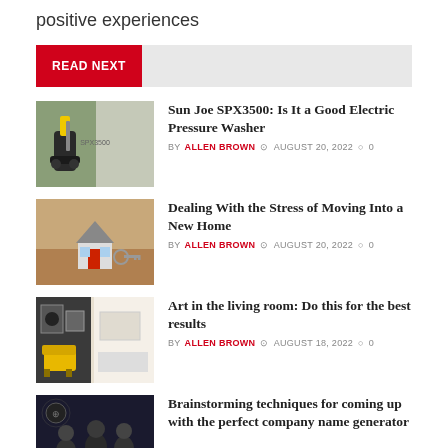positive experiences
READ NEXT
[Figure (photo): Yellow and black pressure washer (Sun Joe SPX3500) next to a stone wall]
Sun Joe SPX3500: Is It a Good Electric Pressure Washer
BY ALLEN BROWN  AUGUST 20, 2022  0
[Figure (photo): Miniature model house with keys on a wooden table]
Dealing With the Stress of Moving Into a New Home
BY ALLEN BROWN  AUGUST 20, 2022  0
[Figure (photo): Modern living room with yellow armchair and wall art]
Art in the living room: Do this for the best results
BY ALLEN BROWN  AUGUST 18, 2022  0
[Figure (photo): People at a table brainstorming, dark background]
Brainstorming techniques for coming up with the perfect company name generator